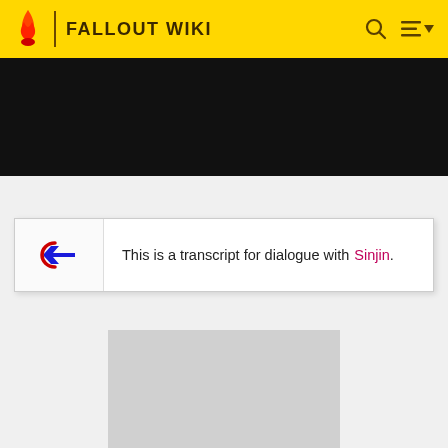FALLOUT WIKI
[Figure (screenshot): Dark banner image area below the header navigation bar]
This is a transcript for dialogue with Sinjin.
[Figure (photo): Gray placeholder image in the lower portion of the page]